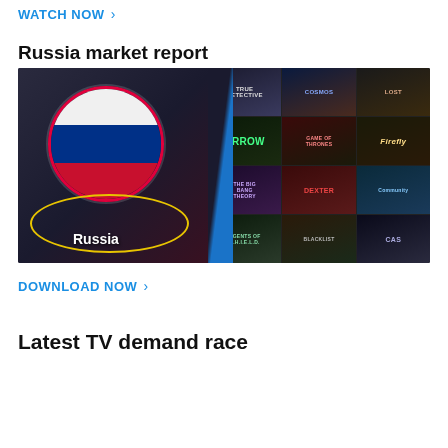WATCH NOW >
Russia market report
[Figure (photo): Composite image showing Russian flag in a circle on dark background on the left, and a collage of TV show posters (True Detective, Arrow, Game of Thrones, Firefly, S.H.I.E.L.D., Community, Cosmos, etc.) on the right, with 'Russia' text label and a yellow ring overlay.]
DOWNLOAD NOW >
Latest TV demand race